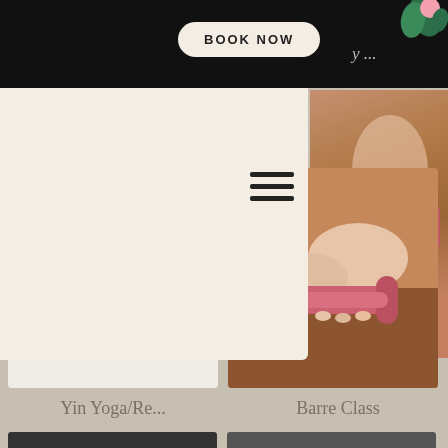BOOK NOW
y ...
[Figure (illustration): Decorative plant/flower logo top right corner]
[Figure (illustration): Hamburger/menu icon with three horizontal lines]
[Figure (photo): Person lying down in yin yoga/restorative pose, hands folded, wearing a blue ring]
Yin Yoga/Re...
[Figure (photo): Person holding a pink dumbbell weight for a barre class]
Barre Class
[Figure (photo): Partial view of two more class photos at the bottom of the page (cropped off)]